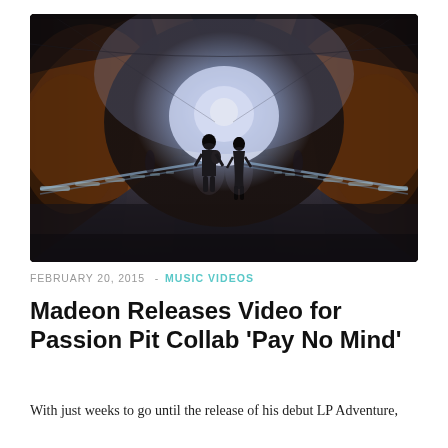[Figure (photo): Two silhouetted figures walking through a dark tunnel toward a bright light at the end. The tunnel has arched walls with warm orange rock tones on the sides and blue-white light in the center. Cables or rails line the tunnel floor edges.]
FEBRUARY 20, 2015  -  MUSIC VIDEOS
Madeon Releases Video for Passion Pit Collab ‘Pay No Mind’
With just weeks to go until the release of his debut LP Adventure,